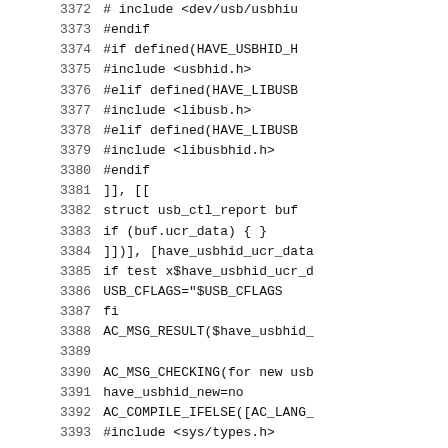Code listing lines 3372-3393 showing configure.ac / autoconf script with USB HID detection logic